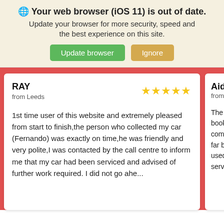🌐 Your web browser (iOS 11) is out of date. Update your browser for more security, speed and the best experience on this site.
Update browser | Ignore
RAY
from Leeds
★★★★★
1st time user of this website and extremely pleased from start to finish,the person who collected my car (Fernando) was exactly on time,he was friendly and very polite,I was contacted by the call centre to inform me that my car had been serviced and advised of further work required. I did not go ahe...
Aidan
from Lee...
The se... book m... commu... far bet... used, v... service...